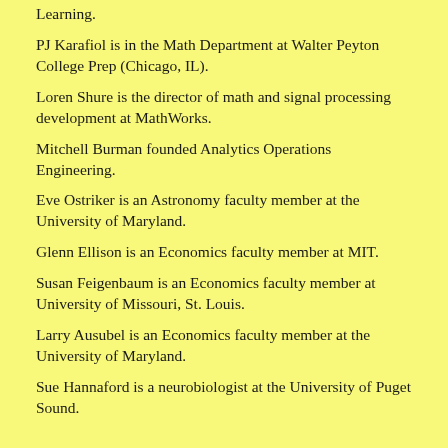Learning.
PJ Karafiol is in the Math Department at Walter Peyton College Prep (Chicago, IL).
Loren Shure is the director of math and signal processing development at MathWorks.
Mitchell Burman founded Analytics Operations Engineering.
Eve Ostriker is an Astronomy faculty member at the University of Maryland.
Glenn Ellison is an Economics faculty member at MIT.
Susan Feigenbaum is an Economics faculty member at University of Missouri, St. Louis.
Larry Ausubel is an Economics faculty member at the University of Maryland.
Sue Hannaford is a neurobiologist at the University of Puget Sound.